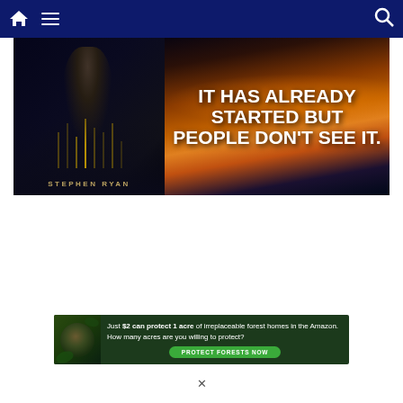Navigation bar with home, menu, and search icons
[Figure (screenshot): Advertisement banner for Stephen Ryan. Left side shows a dark silhouette figure over a lake at night with text 'STEPHEN RYAN'. Right side shows dramatic sunset/ocean scenery with bold white text: 'IT HAS ALREADY STARTED BUT PEOPLE DON'T SEE IT.']
[Figure (screenshot): Amazon forest conservation advertisement with a sloth/animal image. Text reads: 'Just $2 can protect 1 acre of irreplaceable forest homes in the Amazon. How many acres are you willing to protect?' with a green 'PROTECT FORESTS NOW' button.]